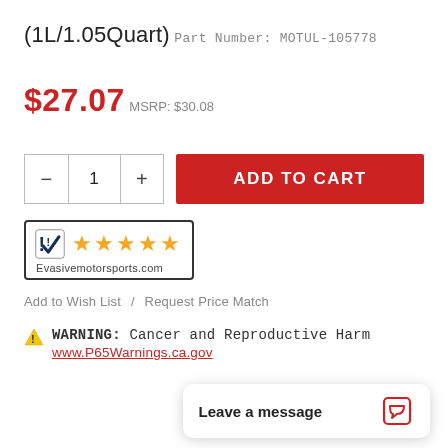(1L/1.05Quart)
Part Number: MOTUL-105778
$27.07
MSRP: $30.08
[Figure (other): Quantity selector with minus, 1, plus buttons and red ADD TO CART button]
[Figure (logo): Evasivemotorsports.com 5-star rating badge with checkmark logo and orange stars]
Add to Wish List   /   Request Price Match
⚠ WARNING: Cancer and Reproductive Harm
www.P65Warnings.ca.gov
Leave a message